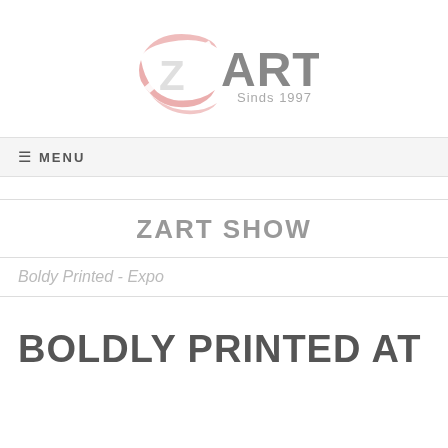[Figure (logo): ZART logo with pink circular swoosh graphic and text 'ZART Sinds 1997' in gray]
≡ MENU
ZART SHOW
Boldy Printed - Expo
BOLDLY PRINTED AT